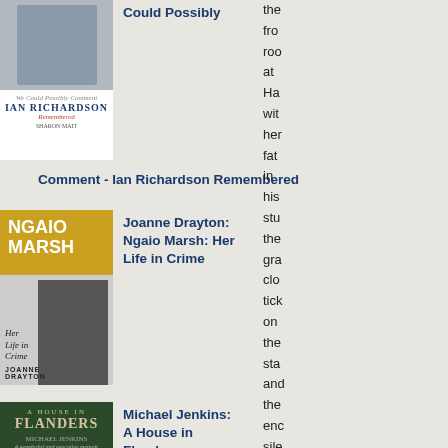[Figure (illustration): Book cover: We Could Possibly Comment - Ian Richardson Remembered]
Comment - Ian Richardson Remembered
[Figure (illustration): Book cover: Ngaio Marsh - Her Life in Crime by Joanne Drayton]
Joanne Drayton: Ngaio Marsh: Her Life in Crime
[Figure (illustration): Book cover: A House in Flanders by Michael Jenkins]
Michael Jenkins: A House in Flanders
the fro roo at Ha wit her fat in his stu the gra clo tick on the sta and the enc sile If